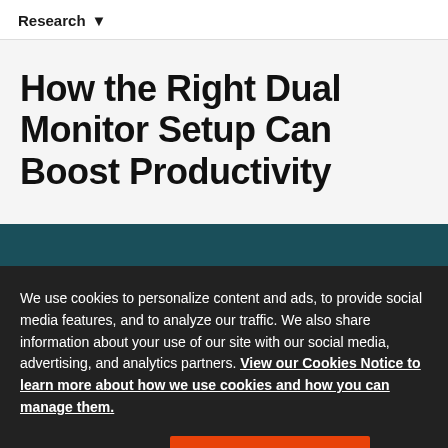Research ▾
How the Right Dual Monitor Setup Can Boost Productivity
We use cookies to personalize content and ads, to provide social media features, and to analyze our traffic. We also share information about your use of our site with our social media, advertising, and analytics partners. View our Cookies Notice to learn more about how we use cookies and how you can manage them.
Cookies Settings | Accept All Cookies